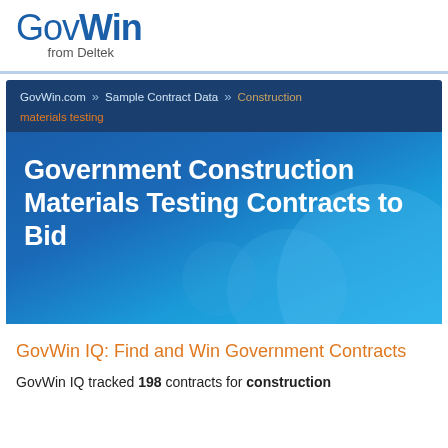GovWin from Deltek
[Figure (screenshot): Hero banner with breadcrumb navigation showing: GovWin.com » Sample Contract Data » Construction » materials testing, and title: Government Construction Materials Testing Contracts to Bid]
GovWin IQ: Find and Win Government Contracts
GovWin IQ tracked 198 contracts for construction